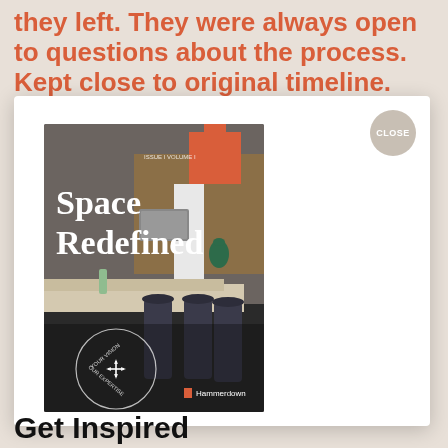they left. They were always open to questions about the process. Kept close to original timeline.
[Figure (illustration): A modal popup over a beige/salmon background showing a book or magazine cover titled 'Space Redefined' with a kitchen interior photo, an orange plus-sign graphic, circular badge reading 'Your Vision Our Expertise', and Hammerdown branding. A CLOSE button appears as a circle in the top-right of the modal.]
Get Inspired